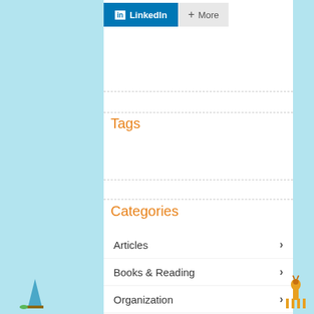[Figure (screenshot): LinkedIn share button (blue) and More button (gray) at the top of the content area]
Tags
Categories
Articles
Books & Reading
Organization
Uncategorized